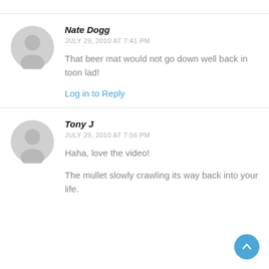Nate Dogg
JULY 29, 2010 AT 7:41 PM
That beer mat would not go down well back in toon lad!
Log in to Reply
Tony J
JULY 29, 2010 AT 7:56 PM
Haha, love the video!
The mullet slowly crawling its way back into your life.